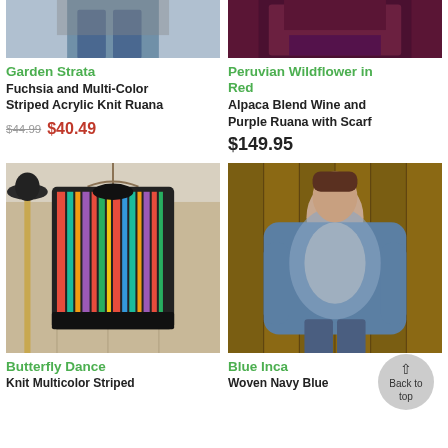[Figure (photo): Partial view of a person wearing a striped ruana, cropped to lower body with jeans visible]
[Figure (photo): Partial view of a person wearing a dark wine/purple ruana, cropped to upper body]
Garden Strata
Fuchsia and Multi-Color Striped Acrylic Knit Ruana
$44.99  $40.49
Peruvian Wildflower in Red
Alpaca Blend Wine and Purple Ruana with Scarf
$149.95
[Figure (photo): Colorful multi-color striped knit ruana hanging on a rack in a room with bamboo screens]
[Figure (photo): Woman wearing a blue woven navy/blue ruana tunic, standing in front of a wooden background]
Butterfly Dance
Knit Multicolor Striped...
Blue Inca
Woven Navy Blue...